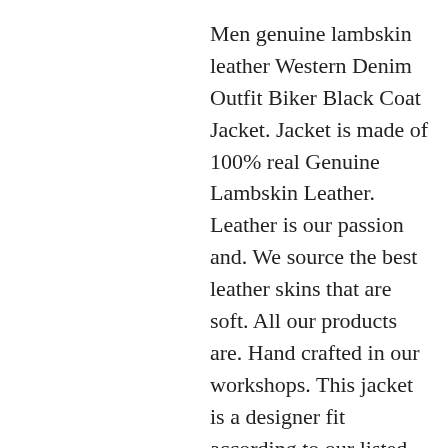Men genuine lambskin leather Western Denim Outfit Biker Black Coat Jacket. Jacket is made of 100% real Genuine Lambskin Leather. Leather is our passion and. We source the best leather skins that are soft. All our products are. Hand crafted in our workshops. This jacket is a designer fit according to our listed size chart. Condition :- Brand New. Material:- 100% Authentic Lambskin Leather. Hardware/Accessories:- Available in Gun Metal, Silver, Gold and Antique. Inside:- Inner fabric lining for better comfort and fit. Style:- Biker/Motorcycle Jacket. Colors:- Black or other colors on demand